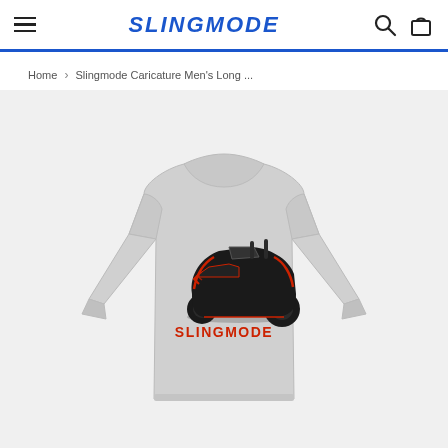SLINGMODE
Home > Slingmode Caricature Men's Long ...
[Figure (photo): Gray long-sleeve t-shirt with a caricature illustration of a black and red Polaris Slingshot three-wheeled vehicle and SLINGMODE text printed on the chest area.]